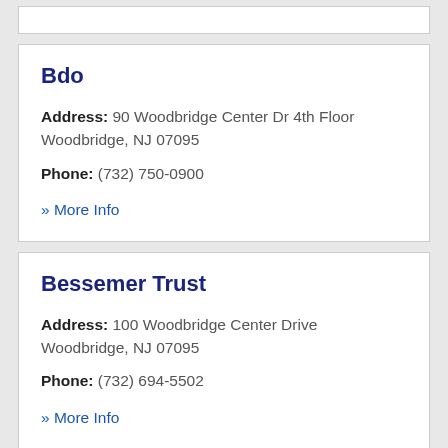Bdo
Address: 90 Woodbridge Center Dr 4th Floor Woodbridge, NJ 07095
Phone: (732) 750-0900
» More Info
Bessemer Trust
Address: 100 Woodbridge Center Drive Woodbridge, NJ 07095
Phone: (732) 694-5502
» More Info